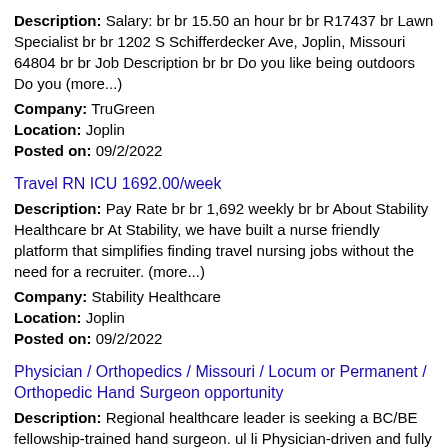Description: Salary: br br 15.50 an hour br br R17437 br Lawn Specialist br br 1202 S Schifferdecker Ave, Joplin, Missouri 64804 br br Job Description br br Do you like being outdoors Do you (more...)
Company: TruGreen
Location: Joplin
Posted on: 09/2/2022
Travel RN ICU 1692.00/week
Description: Pay Rate br br 1,692 weekly br br About Stability Healthcare br At Stability, we have built a nurse friendly platform that simplifies finding travel nursing jobs without the need for a recruiter. (more...)
Company: Stability Healthcare
Location: Joplin
Posted on: 09/2/2022
Physician / Orthopedics / Missouri / Locum or Permanent / Orthopedic Hand Surgeon opportunity
Description: Regional healthcare leader is seeking a BC/BE fellowship-trained hand surgeon. ul li Physician-driven and fully integrated healthcare delivery system offers large referral base li Hospital employed (more...)
Company: Britt Medical Search
Location: Joplin